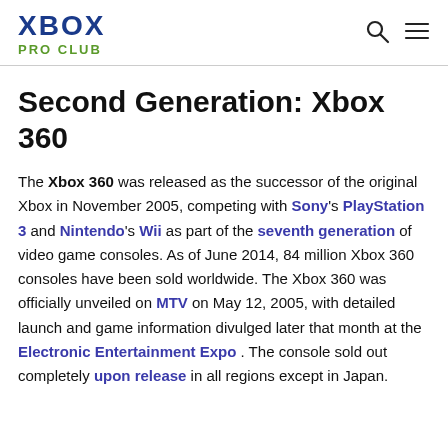XBOX PRO CLUB
Second Generation: Xbox 360
The Xbox 360 was released as the successor of the original Xbox in November 2005, competing with Sony's PlayStation 3 and Nintendo's Wii as part of the seventh generation of video game consoles. As of June 2014, 84 million Xbox 360 consoles have been sold worldwide. The Xbox 360 was officially unveiled on MTV on May 12, 2005, with detailed launch and game information divulged later that month at the Electronic Entertainment Expo . The console sold out completely upon release in all regions except in Japan.